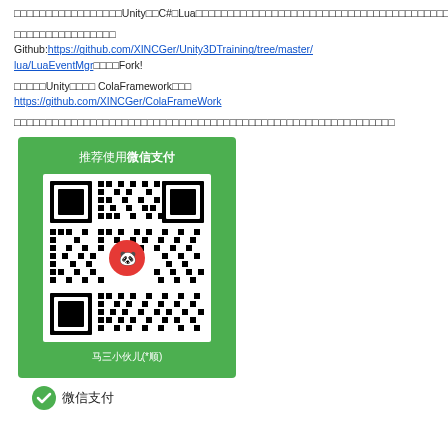本文讲解了如何在Unity中用C#和Lua两种方式来实现消息管理器，并且比较了两者的差异性和使用性。
源码放在了Github上，
Github:https://github.com/XINCGer/Unity3DTraining/tree/master/lua/LuaEventMgr欢迎大家Fork!
另外本人的Unity框架项目 ColaFramework已开源
https://github.com/XINCGer/ColaFrameWork
如果本文对你有帮助的话，欢迎打赏一下，你的支持将是作者继续写下去的动力！谢谢！
[Figure (other): WeChat Pay QR code card with green background showing '推荐使用微信支付', QR code image with WeChat logo overlay, and name '马三小伙儿(*顺)']
[Figure (logo): WeChat Pay logo with green checkmark icon and text '微信支付']